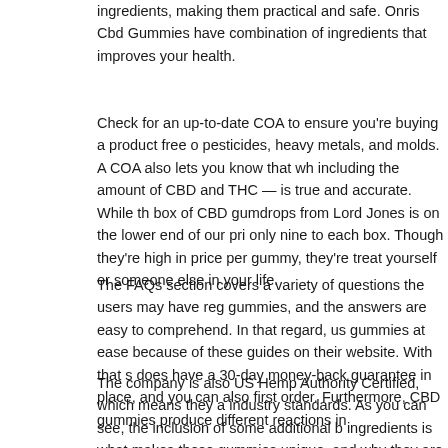ingredients, making them practical and safe. Onris Cbd Gummies have combination of ingredients that improves your health.
Check for an up-to-date COA to ensure you're buying a product free of pesticides, heavy metals, and molds. A COA also lets you know that wh including the amount of CBD and THC — is true and accurate. While th box of CBD gumdrops from Lord Jones is on the lower end of our pri only nine to each box. Though they're high in price per gummy, they're treat yourself or someone else in your life.
The FAQs section covers a variety of questions the users may have reg gummies, and the answers are easy to comprehend. In that regard, us gummies at ease because of these guides on their website. With that s does have a 30-day money-back guarantee in place, and you can also first order. Furthermore, CBD gummies produce different reactions in
The company is also US Hemp Authority Certified, which means they a industry standards. As you can see, the inclusion of some additional b ingredients is what makes these gummies unique, and why they are co close to five stars by users. They are full-spectrum, which may help en entourage effect, and the brand offers a 30-day satisfaction guarant